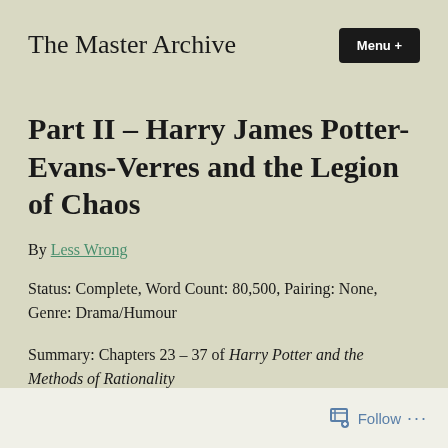The Master Archive
Part II – Harry James Potter-Evans-Verres and the Legion of Chaos
By Less Wrong
Status: Complete, Word Count: 80,500, Pairing: None, Genre: Drama/Humour
Summary: Chapters 23 – 37 of Harry Potter and the Methods of Rationality
Follow ...